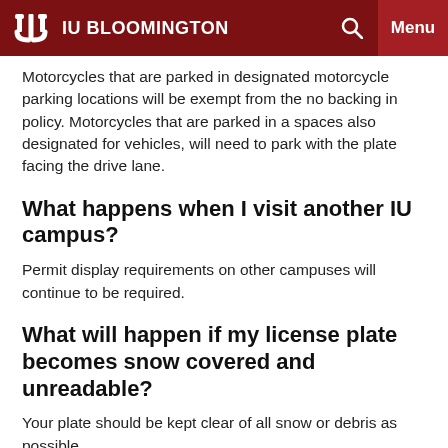IU BLOOMINGTON
Motorcycles that are parked in designated motorcycle parking locations will be exempt from the no backing in policy. Motorcycles that are parked in a spaces also designated for vehicles, will need to park with the plate facing the drive lane.
What happens when I visit another IU campus?
Permit display requirements on other campuses will continue to be required.
What will happen if my license plate becomes snow covered and unreadable?
Your plate should be kept clear of all snow or debris as possible.